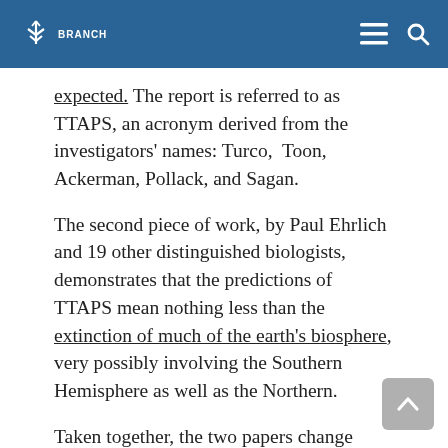BRANCH [logo] [hamburger menu] [search icon]
expected. The report is referred to as TTAPS, an acronym derived from the investigators' names: Turco,  Toon, Ackerman, Pollack, and Sagan.
The second piece of work, by Paul Ehrlich and 19 other distinguished biologists, demonstrates that the predictions of TTAPS mean nothing less than the extinction of much of the earth's biosphere, very possibly involving the Southern Hemisphere as well as the Northern.
Taken together, the two papers change everything in the world about the prospect of thermonuclear warfare. They have already received a careful and critical review by scientists representing the distinl...